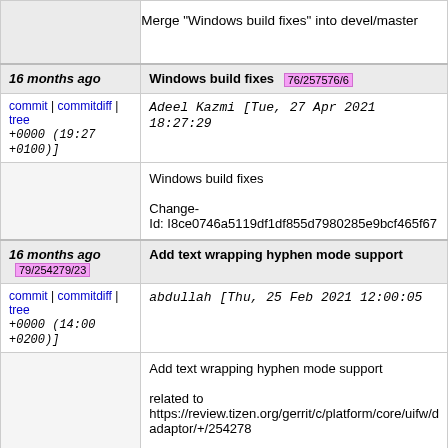Merge "Windows build fixes" into devel/master
16 months ago   Windows build fixes  76/257576/6
commit | commitdiff | tree   Adeel Kazmi [Tue, 27 Apr 2021 18:27:29 +0000 (19:27 +0100)]
Windows build fixes

Change-Id: I8ce0746a5119df1df855d7980285e9bcf465f67
16 months ago   Add text wrapping hyphen mode support  79/254279/23
commit | commitdiff | tree   abdullah [Thu, 25 Feb 2021 12:00:05 +0000 (14:00 +0200)]
Add text wrapping hyphen mode support

related to
https://review.tizen.org/gerrit/c/platform/core/uifw/dali-adaptor/+/254278

using namespace Dali;
using namespace Dali::Toolkit;

class SimpleApp : public ConnectionTracker